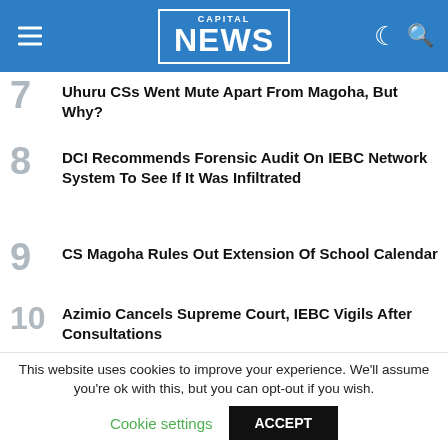CAPITAL NEWS
7. Uhuru CSs Went Mute Apart From Magoha, But Why?
8. DCI Recommends Forensic Audit On IEBC Network System To See If It Was Infiltrated
9. CS Magoha Rules Out Extension Of School Calendar
10. Azimio Cancels Supreme Court, IEBC Vigils After Consultations
[Figure (photo): Advertisement banner showing a smiling doctor and people, ADVERTISEMENT label above.]
This website uses cookies to improve your experience. We'll assume you're ok with this, but you can opt-out if you wish. Cookie settings ACCEPT